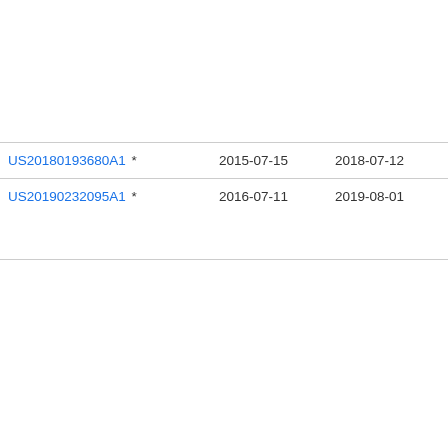| Publication number | Filing date | Publication date | Assignee |
| --- | --- | --- | --- |
| US20180193680A1 * | 2015-07-15 | 2018-07-12 | Bas... |
| US20190232095A1 * | 2016-07-11 | 2019-08-01 | MIN GM... KG |